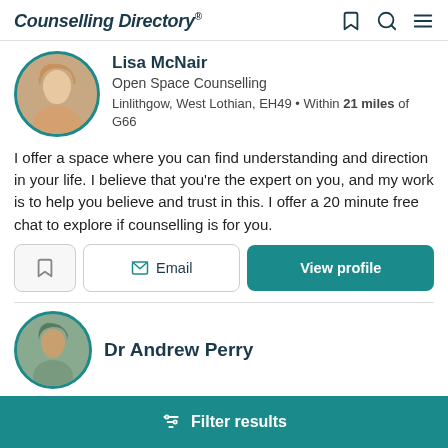Counselling Directory
Lisa McNair
Open Space Counselling
Linlithgow, West Lothian, EH49 • Within 21 miles of G66
I offer a space where you can find understanding and direction in your life. I believe that you're the expert on you, and my work is to help you believe and trust in this. I offer a 20 minute free chat to explore if counselling is for you.
Email
View profile
Dr Andrew Perry
Filter results